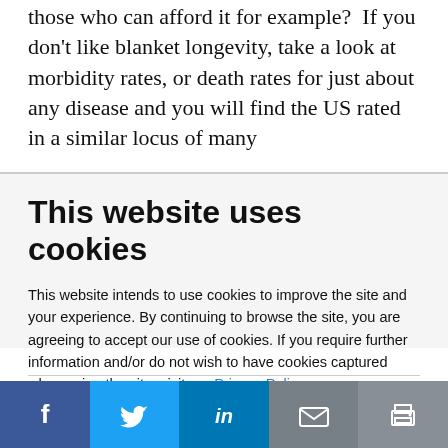those who can afford it for example?  If you don't like blanket longevity, take a look at morbidity rates, or death rates for just about any disease and you will find the US rated in a similar locus of many
This website uses cookies
This website intends to use cookies to improve the site and your experience. By continuing to browse the site, you are agreeing to accept our use of cookies. If you require further information and/or do not wish to have cookies captured when using the site, visit our Privacy Policy.
ACCEPT COOKIES